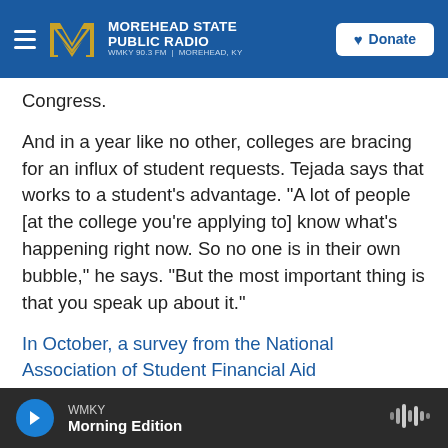MOREHEAD STATE PUBLIC RADIO — WMKY 90.3 FM | MOREHEAD, KY — Donate
Congress.
And in a year like no other, colleges are bracing for an influx of student requests. Tejada says that works to a student's advantage. "A lot of people [at the college you're applying to] know what's happening right now. So no one is in their own bubble," he says. "But the most important thing is that you speak up about it."
In October, a survey from the National Association of Student Financial Aid Administrators found that about 60% of financial aid offices at more than 200
WMKY — Morning Edition